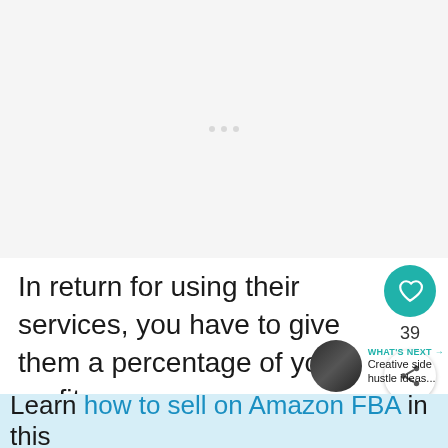[Figure (other): Advertisement placeholder area with three faint dots in the center on a light gray background]
In return for using their services, you have to give them a percentage of your profits.
WHAT'S NEXT → Creative side hustle ideas...
Learn how to sell on Amazon FBA in this